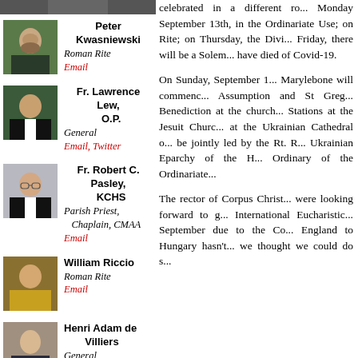[Figure (photo): Partial photo at top of left column (cropped person)]
Peter Kwasniewski
Roman Rite
Email
Fr. Lawrence Lew, O.P.
General
Email, Twitter
Fr. Robert C. Pasley, KCHS
Parish Priest, Chaplain, CMAA
Email
William Riccio
Roman Rite
Email
Henri Adam de Villiers
General
Email
correspondants
celebrated in a different ro... Monday September 13th, in the Ordinariate Use; on Rite; on Thursday, the Divi... Friday, there will be a Solem... have died of Covid-19.
On Sunday, September 1... Marylebone will commenc... Assumption and St Greg... Benediction at the church... Stations at the Jesuit Churc... at the Ukrainian Cathedral o... be jointly led by the Rt. R... Ukrainian Eparchy of the H... Ordinary of the Ordinariate...
The rector of Corpus Christ... were looking forward to g... International Eucharistic... September due to the Co... England to Hungary hasn't... we thought we could do s...